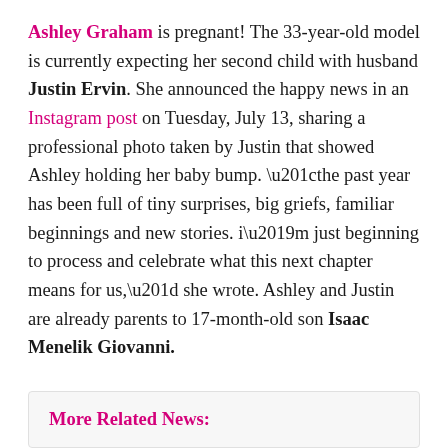Ashley Graham is pregnant! The 33-year-old model is currently expecting her second child with husband Justin Ervin. She announced the happy news in an Instagram post on Tuesday, July 13, sharing a professional photo taken by Justin that showed Ashley holding her baby bump. “the past year has been full of tiny surprises, big griefs, familiar beginnings and new stories. i’m just beginning to process and celebrate what this next chapter means for us,” she wrote. Ashley and Justin are already parents to 17-month-old son Isaac Menelik Giovanni.
More Related News: